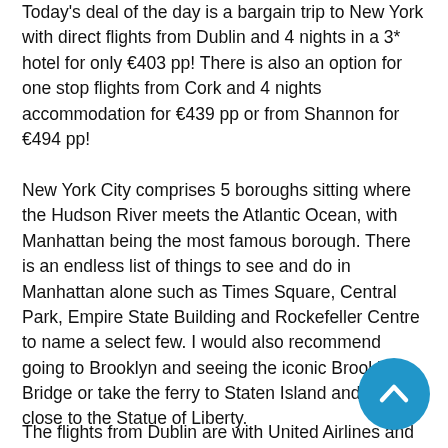Today's deal of the day is a bargain trip to New York with direct flights from Dublin and 4 nights in a 3* hotel for only €403 pp! There is also an option for one stop flights from Cork and 4 nights accommodation for €439 pp or from Shannon for €494 pp!
New York City comprises 5 boroughs sitting where the Hudson River meets the Atlantic Ocean, with Manhattan being the most famous borough. There is an endless list of things to see and do in Manhattan alone such as Times Square, Central Park, Empire State Building and Rockefeller Centre to name a select few. I would also recommend going to Brooklyn and seeing the iconic Brooklyn Bridge or take the ferry to Staten Island and get up close to the Statue of Liberty.
The flights from Dublin are with United Airlines and are